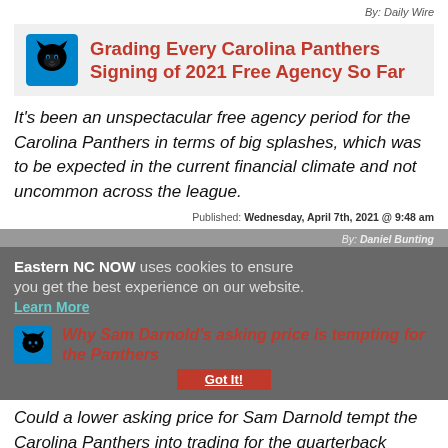By: Daily Wire
Grading Every Carolina Panthers Signing of 2021 Free Agency So Far
It's been an unspectacular free agency period for the Carolina Panthers in terms of big splashes, which was to be expected in the current financial climate and not uncommon across the league.
Published: Wednesday, April 7th, 2021 @ 9:48 am
By: Daniel Bunting
Eastern NC NOW uses cookies to ensure you get the best experience on our website. Learn More
Why Sam Darnold's asking price is tempting for the Panthers
Could a lower asking price for Sam Darnold tempt the Carolina Panthers into trading for the quarterback during the 2021 NFL Draft?